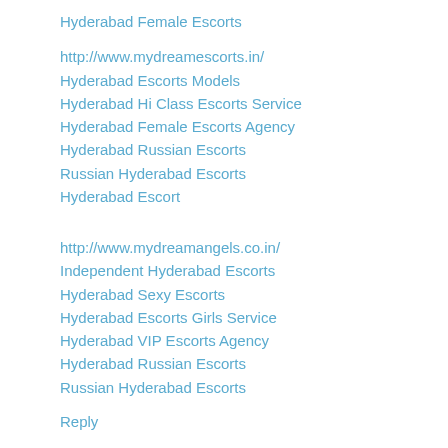Hyderabad Female Escorts
http://www.mydreamescorts.in/
Hyderabad Escorts Models
Hyderabad Hi Class Escorts Service
Hyderabad Female Escorts Agency
Hyderabad Russian Escorts
Russian Hyderabad Escorts
Hyderabad Escort
http://www.mydreamangels.co.in/
Independent Hyderabad Escorts
Hyderabad Sexy Escorts
Hyderabad Escorts Girls Service
Hyderabad VIP Escorts Agency
Hyderabad Russian Escorts
Russian Hyderabad Escorts
Reply
Anonymous  September 23, 2015 at 4:31 AM
Our services are the real deal, offering you premium service for f...